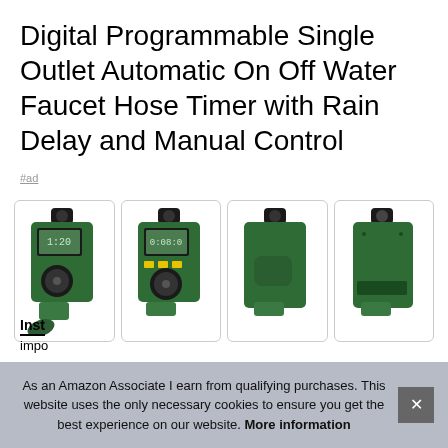Digital Programmable Single Outlet Automatic On Off Water Faucet Hose Timer with Rain Delay and Manual Control
#ad
[Figure (photo): Four product images of a green digital programmable water faucet hose timer shown from different angles]
Inst
impo
As an Amazon Associate I earn from qualifying purchases. This website uses the only necessary cookies to ensure you get the best experience on our website. More information